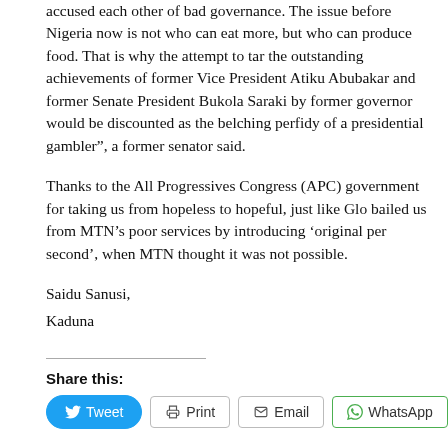accused each other of bad governance. The issue before Nigeria now is not who can eat more, but who can produce food. That is why the attempt to tar the outstanding achievements of former Vice President Atiku Abubakar and former Senate President Bukola Saraki by former governor would be discounted as the belching perfidy of a presidential gambler”, a former senator said.
Thanks to the All Progressives Congress (APC) government for taking us from hopeless to hopeful, just like Glo bailed us from MTN’s poor services by introducing ‘original per second’, when MTN thought it was not possible.
Saidu Sanusi,
Kaduna
Share this: